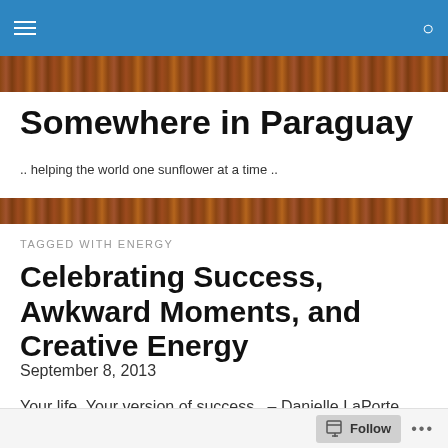Navigation bar with menu and search icons
[Figure (illustration): Wood grain texture banner]
Somewhere in Paraguay
.. helping the world one sunflower at a time ..
[Figure (illustration): Wood grain texture banner]
TAGGED WITH ENERGY
Celebrating Success, Awkward Moments, and Creative Energy
September 8, 2013
Your life. Your version of success.  – Danielle LaPorte
Follow